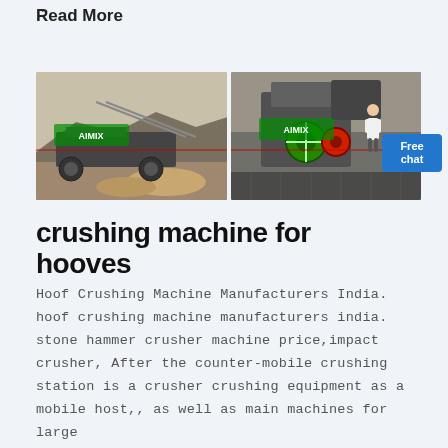…
Read More
[Figure (photo): Two photos of industrial crushing machines at a quarry/mining site. Left photo shows a large vibrating screen or conveyor with green branded logo overlay, set against a rocky hillside. Right photo shows a closer view of a crusher machine with green/red branded overlay.]
crushing machine for hooves
Hoof Crushing Machine Manufacturers India. hoof crushing machine manufacturers india. stone hammer crusher machine price,impact crusher, After the counter-mobile crushing station is a crusher crushing equipment as a mobile host,, as well as main machines for large